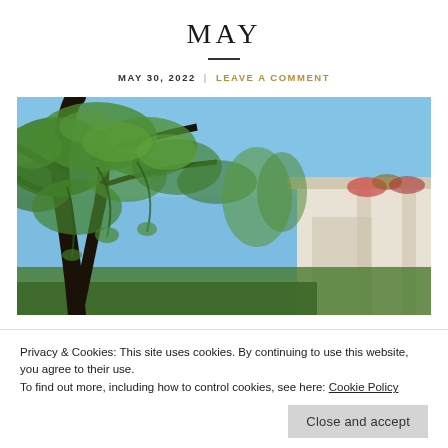MAY
MAY 30, 2022  LEAVE A COMMENT
[Figure (photo): Outdoor garden photo showing large green trees with drooping branches against a bright blue sky, with a white building/pergola with hanging flowers visible on the right side.]
Privacy & Cookies: This site uses cookies. By continuing to use this website, you agree to their use.
To find out more, including how to control cookies, see here: Cookie Policy
Close and accept